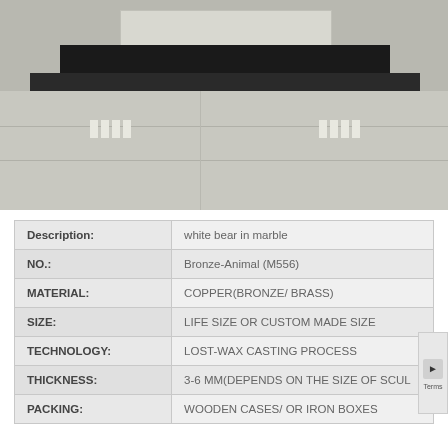[Figure (photo): Photo of a white marble bear sculpture on a dark rectangular pedestal/platform, viewed from the side, displayed in a gallery or showroom with light grey tiled floor.]
| Description: | white bear in marble |
| NO.: | Bronze-Animal (M556) |
| MATERIAL: | COPPER(BRONZE/ BRASS) |
| SIZE: | LIFE SIZE OR CUSTOM MADE SIZE |
| TECHNOLOGY: | LOST-WAX CASTING PROCESS |
| THICKNESS: | 3-6 MM(DEPENDS ON THE SIZE OF SCUL... |
| PACKING: | WOODEN CASES/ OR IRON BOXES |